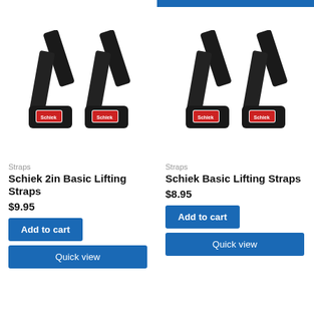[Figure (photo): Two black Schiek 2in Basic Lifting Straps with logo tags, left product]
Straps
Schiek 2in Basic Lifting Straps
$9.95
Add to cart
Quick view
[Figure (photo): Two black Schiek Basic Lifting Straps with logo tags, right product]
Straps
Schiek Basic Lifting Straps
$8.95
Add to cart
Quick view